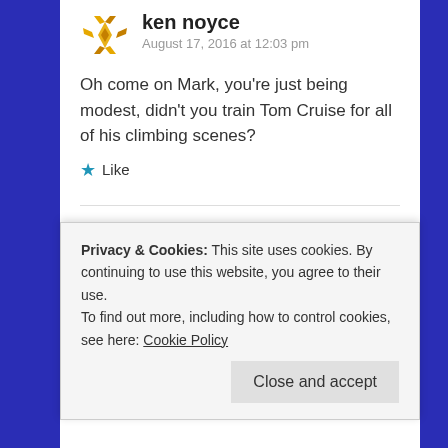ken noyce
August 17, 2016 at 12:03 pm
Oh come on Mark, you're just being modest, didn't you train Tom Cruise for all of his climbing scenes?
Like
monomaniac29
August 19, 2016 at 9:31 pm
Privacy & Cookies: This site uses cookies. By continuing to use this website, you agree to their use.
To find out more, including how to control cookies, see here: Cookie Policy
Close and accept